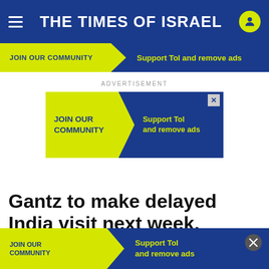THE TIMES OF ISRAEL
JOIN OUR COMMUNITY   Support ToI and remove ads
ADVERTISEMENT
[Figure (screenshot): Advertisement banner: JOIN OUR COMMUNITY / Support ToI and remove ads with close button]
Gantz to make delayed India visit next week, marking 30 years of security ties
Defens… 'specia… 'delayed amid s…
[Figure (screenshot): Bottom advertisement overlay: JOIN OUR COMMUNITY / Support ToI and remove ads with close button]